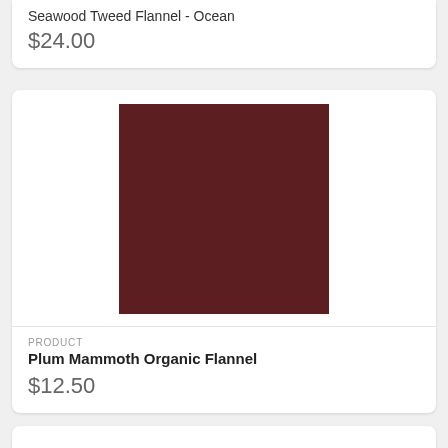Seawood Tweed Flannel - Ocean
$24.00
[Figure (photo): Dark plum/maroon solid fabric swatch square]
PRODUCT
Plum Mammoth Organic Flannel
$12.50